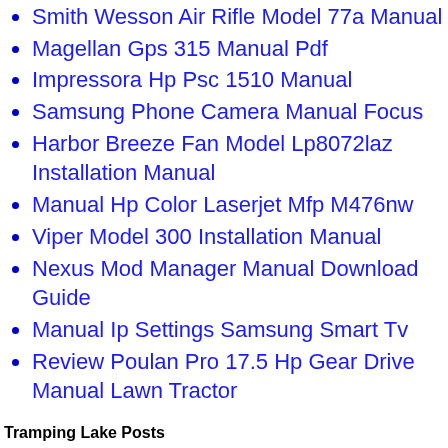Smith Wesson Air Rifle Model 77a Manual
Magellan Gps 315 Manual Pdf
Impressora Hp Psc 1510 Manual
Samsung Phone Camera Manual Focus
Harbor Breeze Fan Model Lp8072laz Installation Manual
Manual Hp Color Laserjet Mfp M476nw
Viper Model 300 Installation Manual
Nexus Mod Manager Manual Download Guide
Manual Ip Settings Samsung Smart Tv
Review Poulan Pro 17.5 Hp Gear Drive Manual Lawn Tractor
Tramping Lake Posts
Manual For T-fal Avante Toaster Model 874950
Chambers Range Service Manual Model B
Arduino Starter Kit Manual Pdf